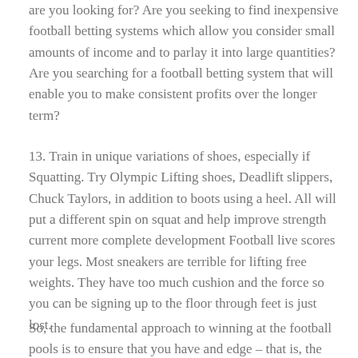are you looking for? Are you seeking to find inexpensive football betting systems which allow you consider small amounts of income and to parlay it into large quantities? Are you searching for a football betting system that will enable you to make consistent profits over the longer term?
13. Train in unique variations of shoes, especially if Squatting. Try Olympic Lifting shoes, Deadlift slippers, Chuck Taylors, in addition to boots using a heel. All will put a different spin on squat and help improve strength current more complete development Football live scores your legs. Most sneakers are terrible for lifting free weights. They have too much cushion and the force so you can be signing up to the floor through feet is just lost.
So, the fundamental approach to winning at the football pools is to ensure that you have and edge – that is, the